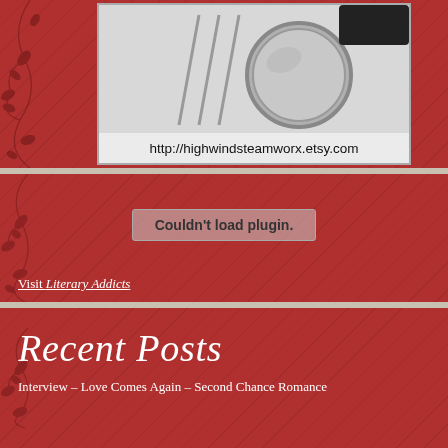[Figure (photo): Photo of a steampunk-style magnifying glass or monocle on a metallic stand, with a URL overlay at the bottom reading http://highwindsteamworx.etsy.com]
Couldn't load plugin.
Visit Literary Addicts
Recent Posts
Interview – Love Comes Again – Second Chance Romance